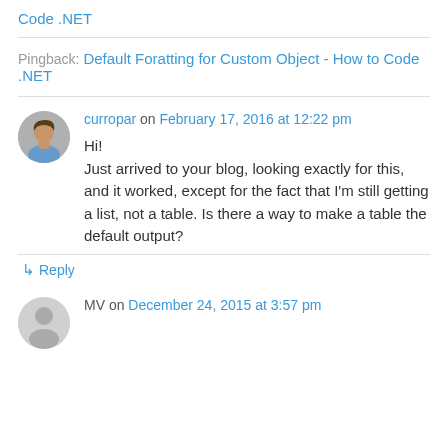Code .NET
Pingback: Default Foratting for Custom Object - How to Code .NET
curropar on February 17, 2016 at 12:22 pm
Hi! Just arrived to your blog, looking exactly for this, and it worked, except for the fact that I'm still getting a list, not a table. Is there a way to make a table the default output?
↳ Reply
MV on December 24, 2015 at 3:57 pm